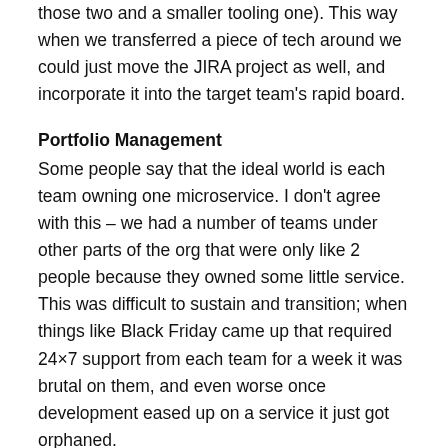those two and a smaller tooling one). This way when we transferred a piece of tech around we could just move the JIRA project as well, and incorporate it into the target team's rapid board.
Portfolio Management
Some people say that the ideal world is each team owning one microservice. I don't agree with this – we had a number of teams under other parts of the org that were only like 2 people because they owned some little service. This was difficult to sustain and transition; when things like Black Friday came up that required 24×7 support from each team for a week it was brutal on them, and even worse once development eased up on a service it just got orphaned.
If you don't keep a service portfolio and tightly manage who is tasked with supporting each one, you are opening...